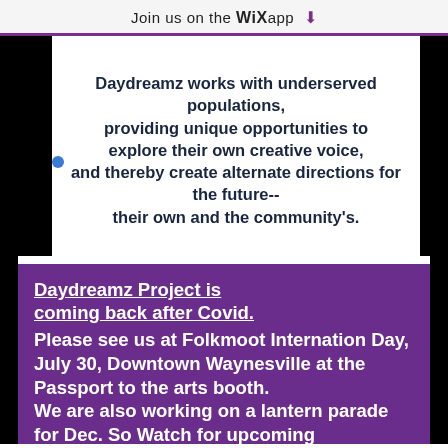Join us on the WiX app ↓
Daydreamz works with underserved populations, providing unique opportunities to explore their own creative voice, and thereby create alternate directions for the future-- their own and the community's.
Daydreamz Project is coming back after Covid. Please see us at Folkmoot Internation Day, July 30, Downtown Waynesville at the Passport to the arts booth. We are also working on a lantern parade for Dec. So Watch for upcoming workshops on lantern Making.